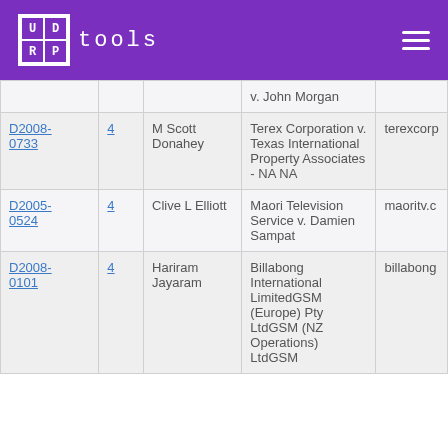UDRP tools
| Case | Count | Panelist | Case Name | Domain |
| --- | --- | --- | --- | --- |
|  |  |  | v. John Morgan |  |
| D2008-0733 | 4 | M Scott Donahey | Terex Corporation v. Texas International Property Associates - NA NA | terexcorp... |
| D2005-0524 | 4 | Clive L Elliott | Maori Television Service v. Damien Sampat | maoritv.c... |
| D2008-0101 | 4 | Hariram Jayaram | Billabong International LimitedGSM (Europe) Pty LtdGSM (NZ Operations) LtdGSM... | billabong... |